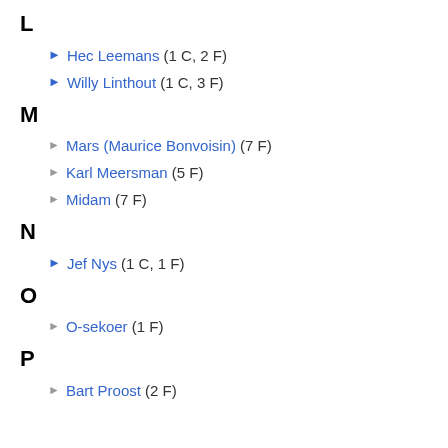L
Hec Leemans (1 C, 2 F)
Willy Linthout (1 C, 3 F)
M
Mars (Maurice Bonvoisin) (7 F)
Karl Meersman (5 F)
Midam (7 F)
N
Jef Nys (1 C, 1 F)
O
O-sekoer (1 F)
P
Bart Proost (2 F)